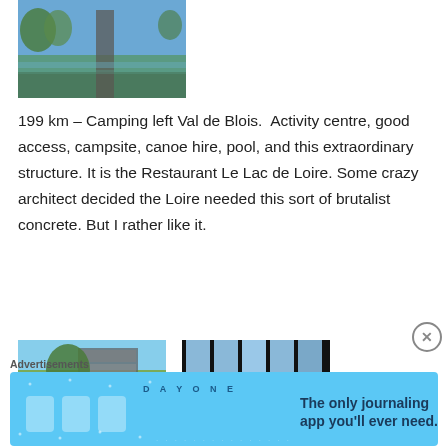[Figure (photo): Outdoor photo showing water with a tower/pillar structure and trees in background]
199 km – Camping left Val de Blois.  Activity centre, good access, campsite, canoe hire, pool, and this extraordinary structure. It is the Restaurant Le Lac de Loire. Some crazy architect decided the Loire needed this sort of brutalist concrete. But I rather like it.
[Figure (photo): Photo of a modern building exterior with trees and grass area]
[Figure (photo): Interior photo of Restaurant Le Lac de Loire showing wooden furniture and river view through large windows]
[Figure (photo): Interior photo showing patterned ceiling or wall detail]
Advertisements
[Figure (photo): DAY ONE app advertisement banner — The only journaling app you'll ever need.]